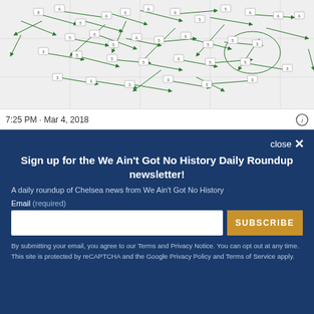[Figure (network-graph): A network graph with green arrows and nodes on a white/light gray background, showing connections between labeled boxes]
7:25 PM · Mar 4, 2018
close ✕
Sign up for the We Ain't Got No History Daily Roundup newsletter!
A daily roundup of Chelsea news from We Ain't Got No History
Email (required)
SUBSCRIBE
By submitting your email, you agree to our Terms and Privacy Notice. You can opt out at any time. This site is protected by reCAPTCHA and the Google Privacy Policy and Terms of Service apply.